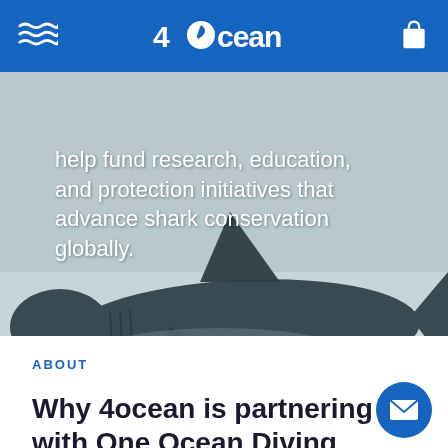4ocean
[Figure (photo): Underwater photo of a shark swimming over a sandy ocean floor, viewed from above/side. The shark is dark-colored with visible fins against a light sandy bottom.]
help fund research, education, and protection initiatives that advance shark conservation globally.
ABOUT
Why 4ocean is partnering with One Ocean Diving